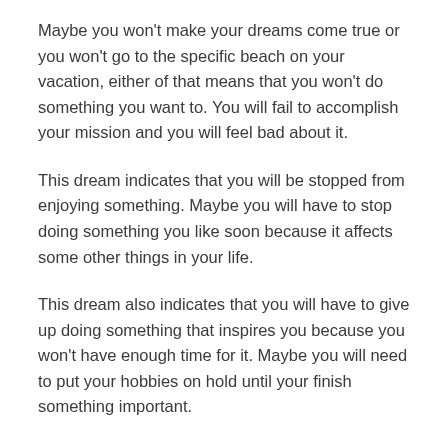Maybe you won't make your dreams come true or you won't go to the specific beach on your vacation, either of that means that you won't do something you want to. You will fail to accomplish your mission and you will feel bad about it.
This dream indicates that you will be stopped from enjoying something. Maybe you will have to stop doing something you like soon because it affects some other things in your life.
This dream also indicates that you will have to give up doing something that inspires you because you won't have enough time for it. Maybe you will need to put your hobbies on hold until your finish something important.